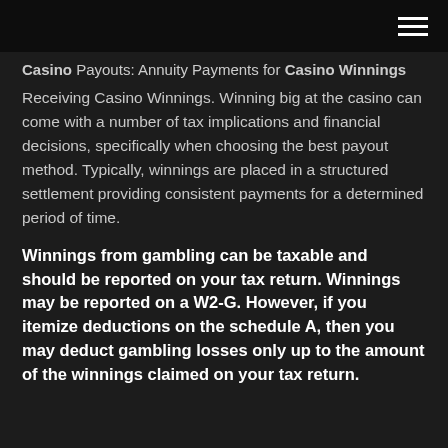Casino Payouts: Annuity Payments for Casino Winnings
Receiving Casino Winnings. Winning big at the casino can come with a number of tax implications and financial decisions, specifically when choosing the best payout method. Typically, winnings are placed in a structured settlement providing consistent payments for a determined period of time.
Winnings from gambling can be taxable and should be reported on your tax return. Winnings may be reported on a W2-G. However, if you itemize deductions on the schedule A, then you may deduct gambling losses only up to the amount of the winnings claimed on your tax return.